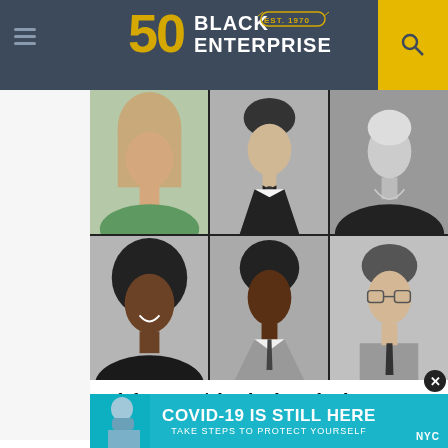Black Enterprise — EST. 1970 — 50th Anniversary
[Figure (photo): Collage of six vintage black-and-white yearbook portrait photos arranged in a 3x2 grid — top row: young woman in light green top, young man in tuxedo and bow tie, young woman with necklace; bottom row: young Black woman smiling, young Black man in suit with tie, young white man with glasses and checked blazer]
Look for Any High School Yearbook, It's Free
Classmates
[Figure (infographic): COVID-19 advertisement banner: teal/cyan background with man in mask on left side, large white bold text 'COVID-19 IS STILL HERE', smaller white text 'TAKE STEPS TO PROTECT YOURSELF', NYC logo bottom right]